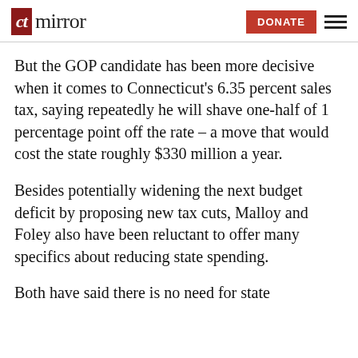CT Mirror — DONATE
But the GOP candidate has been more decisive when it comes to Connecticut's 6.35 percent sales tax, saying repeatedly he will shave one-half of 1 percentage point off the rate – a move that would cost the state roughly $330 million a year.
Besides potentially widening the next budget deficit by proposing new tax cuts, Malloy and Foley also have been reluctant to offer many specifics about reducing state spending.
Both have said there is no need for state